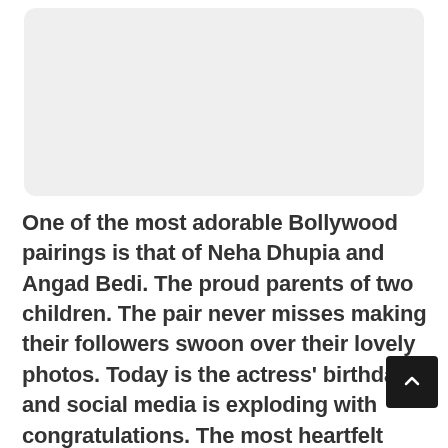[Figure (photo): Placeholder image area with light gray rounded rectangle background]
One of the most adorable Bollywood pairings is that of Neha Dhupia and Angad Bedi. The proud parents of two children. The pair never misses making their followers swoon over their lovely photos. Today is the actress' birthday, and social media is exploding with congratulations. The most heartfelt birthday greeting, yet, came from her husband Angad Bedi. He posted a lovely snapshot of the two of them in which Abhishek Bachchan, Maniesh